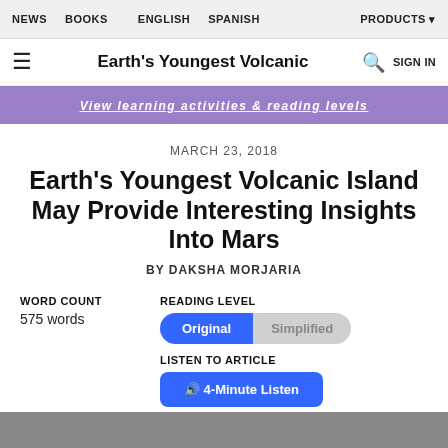NEWS  BOOKS  ENGLISH  SPANISH  PRODUCTS
Earth's Youngest Volcanic  SIGN IN
View learning activities & reading levels
MARCH 23, 2018
Earth's Youngest Volcanic Island May Provide Interesting Insights Into Mars
BY DAKSHA MORJARIA
WORD COUNT
575 words
READING LEVEL
Original  Simplified
LISTEN TO ARTICLE
4-Minute Listen
[Figure (photo): Bottom portion of a photo, partially visible at the bottom of the page]